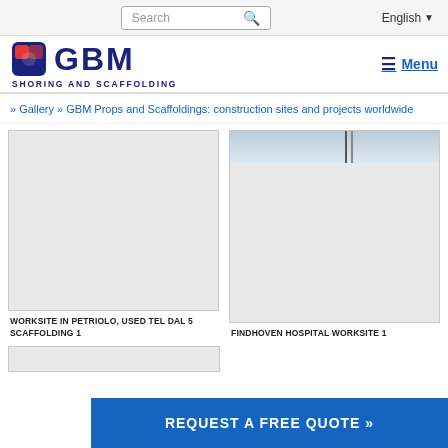Search | English ▼
[Figure (logo): GBM Shoring and Scaffolding logo with blue square icon and blue GBM text]
≡ Menu
» Gallery » GBM Props and Scaffoldings: construction sites and projects worldwide
[Figure (photo): Gallery thumbnail - Worksite in Petriolo, used Tel Dal 5 Scaffolding 1, light grey placeholder image]
[Figure (photo): Gallery thumbnail - Findhoven Hospital Worksite 1, partially visible sky with scaffolding]
WORKSITE IN PETRIOLO, USED TEL DAL 5 SCAFFOLDING 1
FINDHOVEN HOSPITAL WORKSITE 1
REQUEST A FREE QUOTE »